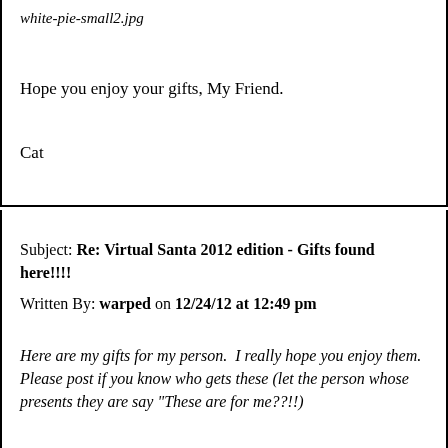white-pie-small2.jpg
Hope you enjoy your gifts, My Friend.
Cat
Subject: Re: Virtual Santa 2012 edition - Gifts found here!!!!
Written By: warped on 12/24/12 at 12:49 pm
Here are my gifts for my person.  I really hope you enjoy them.  Please post if you know who gets these (let the person whose presents they are say "These are for me??!!)